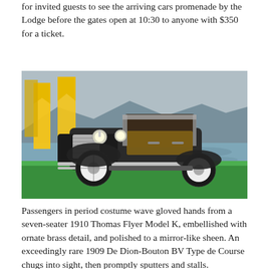for invited guests to see the arriving cars promenade by the Lodge before the gates open at 10:30 to anyone with $350 for a ticket.
[Figure (photo): A vintage dark-colored classic car (appears to be a 1920s-era automobile) parked on green grass with yellow banner flags in the background and a coastal mountain bay scene behind it.]
Passengers in period costume wave gloved hands from a seven-seater 1910 Thomas Flyer Model K, embellished with ornate brass detail, and polished to a mirror-like sheen. An exceedingly rare 1909 De Dion-Bouton BV Type de Course chugs into sight, then promptly sputters and stalls. Grimacing,